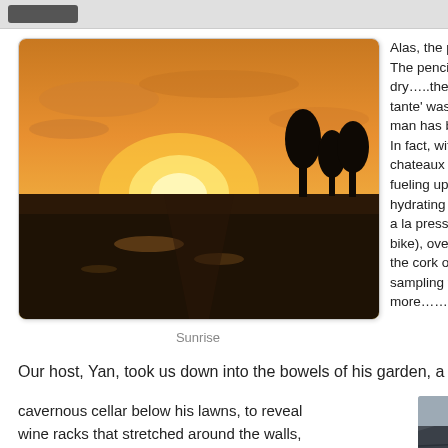[Figure (photo): Sunset/sunrise landscape photo showing golden sky over flat fields with water reflections]
Sunrise
Alas, the period of The pencil went blu dry…..the beckonin tante' was naught b man has been AWO In fact, with his wife chateaux and vigno fueling up on croiss hydrating on grand a la pression, and  bike), over the final the cork on a wine  sampling till the lee more……..
Our host, Yan, took us down into the bowels of his garden, a deep
cavernous cellar below his lawns, to reveal wine racks that stretched around the walls, and offered us three of his collection………two
[Figure (photo): Partial view of a building rooftop with dark tiles]